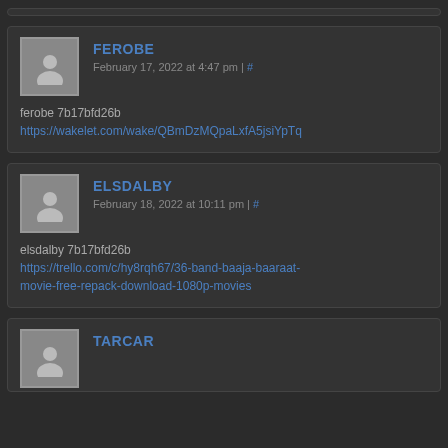FEROBE
February 17, 2022 at 4:47 pm | #
ferobe 7b17bfd26b
https://wakelet.com/wake/QBmDzMQpaLxfA5jsiYpTq
ELSDALBY
February 18, 2022 at 10:11 pm | #
elsdalby 7b17bfd26b
https://trello.com/c/hy8rqh67/36-band-baaja-baaraat-movie-free-repack-download-1080p-movies
TARCAR (partial, cut off)